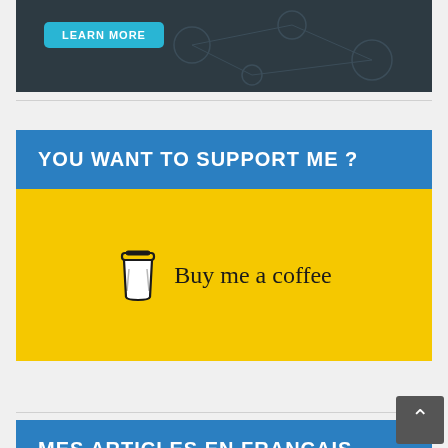[Figure (screenshot): Dark banner with 'LEARN MORE' button in cyan/blue and network diagram lines in background]
YOU WANT TO SUPPORT ME ?
[Figure (illustration): Yellow 'Buy me a coffee' banner with coffee cup icon and cursive text]
MES ARTICLES EN FRANÇAIS